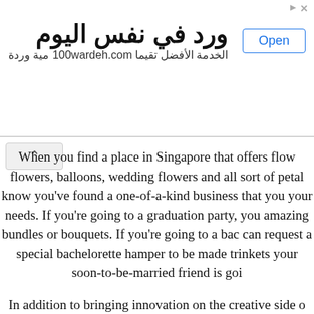[Figure (screenshot): Advertisement banner for 100wardeh.com flower delivery service. Shows Arabic text 'ورد في نفس اليوم' (Flowers on the same day) as title, subtitle 'الخدمة الأفضل تقيما 100wardeh.com مية وردة', and an 'Open' button on the right. Top right has navigation icons.]
When you find a place in Singapore that offers flowers, balloons, wedding flowers and all sort of petals, know you've found a one-of-a-kind business that you can cater your needs. If you're going to a graduation party, you can get amazing bundles or bouquets. If you're going to a bachelorette, can request a special bachelorette hamper to be made with all the trinkets your soon-to-be-married friend is going to love.
In addition to bringing innovation on the creative side of things, they've also kicked their delivery system up a notch. delivery Singapore florists offer, have to rethink their options. Place an order today, whether it's a hamper or a flower arrangement, and you'll receive it on the same day within minutes. Sometimes, if you're lucky, you can even get their official same day flower delivery that they tout the...